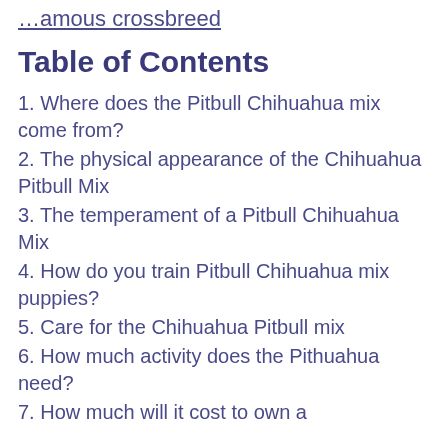…amous crossbreed
Table of Contents
1. Where does the Pitbull Chihuahua mix come from?
2. The physical appearance of the Chihuahua Pitbull Mix
3. The temperament of a Pitbull Chihuahua Mix
4. How do you train Pitbull Chihuahua mix puppies?
5. Care for the Chihuahua Pitbull mix
6. How much activity does the Pithuahua need?
7. How much will it cost to own a